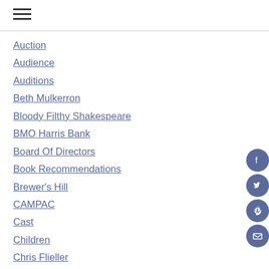Navigation menu
Auction
Audience
Auditions
Beth Mulkerron
Bloody Filthy Shakespeare
BMO Harris Bank
Board Of Directors
Book Recommendations
Brewer's Hill
CAMPAC
Cast
Children
Chris Flieller
COA Youth And Family Center